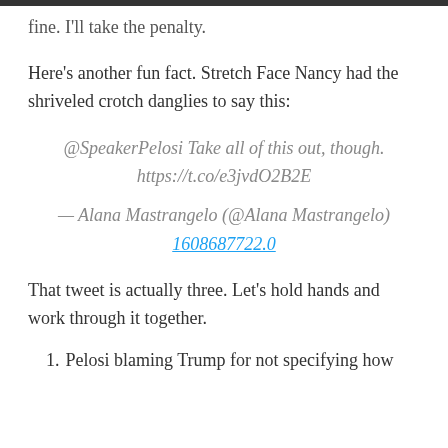fine. I'll take the penalty.
Here's another fun fact. Stretch Face Nancy had the shriveled crotch danglies to say this:
@SpeakerPelosi Take all of this out, though. https://t.co/e3jvdO2B2E — Alana Mastrangelo (@Alana Mastrangelo) 1608687722.0
That tweet is actually three. Let's hold hands and work through it together.
1. Pelosi blaming Trump for not specifying how